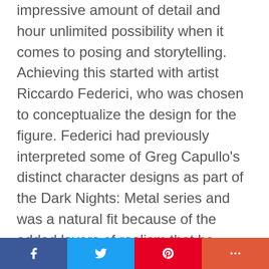impressive amount of detail and hour unlimited possibility when it comes to posing and storytelling. Achieving this started with artist Riccardo Federici, who was chosen to conceptualize the design for the figure. Federici had previously interpreted some of Greg Capullo’s distinct character designs as part of the Dark Nights: Metal series and was a natural fit because of the added layers of realism that he incorporates in his work.
“Working on this action figure was fantastic,” Federici enthused when asked about his latest project. “I love to design! This work has allowed me to incorporate…
Facebook | Twitter | Pinterest | More